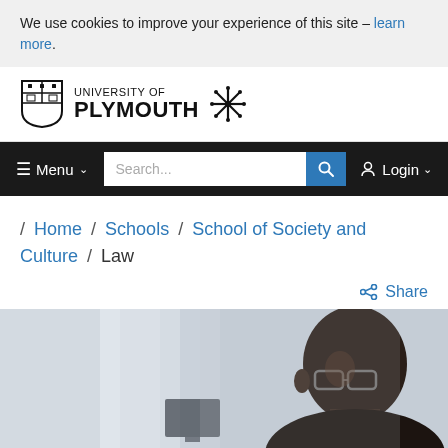We use cookies to improve your experience of this site – learn more.
[Figure (logo): University of Plymouth logo with shield crest and snowflake emblem]
≡ Menu ∨   Search...   🔍   ⚉ Login ∨
/ Home / Schools / School of Society and Culture / Law
Share
[Figure (photo): Black and white photo of a young Black man wearing glasses, seated in a modern classroom or lecture hall environment, looking thoughtfully to the side.]